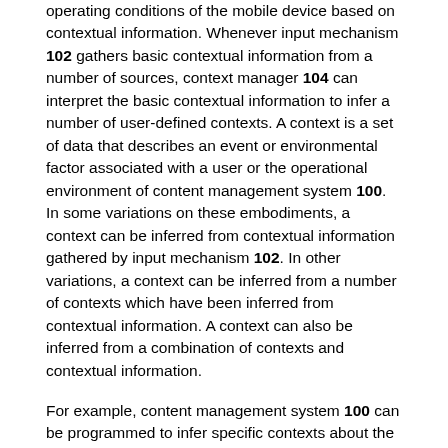operating conditions of the mobile device based on contextual information. Whenever input mechanism 102 gathers basic contextual information from a number of sources, context manager 104 can interpret the basic contextual information to infer a number of user-defined contexts. A context is a set of data that describes an event or environmental factor associated with a user or the operational environment of content management system 100. In some variations on these embodiments, a context can be inferred from contextual information gathered by input mechanism 102. In other variations, a context can be inferred from a number of contexts which have been inferred from contextual information. A context can also be inferred from a combination of contexts and contextual information.
For example, content management system 100 can be programmed to infer specific contexts about the user based on contextual information, including but not limited to whether the user is sitting down, watching TV, asleep, alert, talking, typing at the computer in the home study or at the office, walking around the house, walking outside the house, driving, or performing a household activity (e.g.,